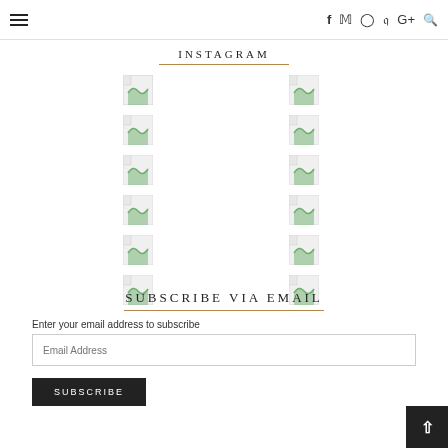≡  f  y  ⊙  p  G+  🔍
INSTAGRAM
[Figure (photo): Grid of 12 broken image placeholders arranged in 2 columns of 6 rows, representing Instagram photos]
SUBSCRIBE VIA EMAIL
Enter your email address to subscribe
Email Address
SUBSCRIBE